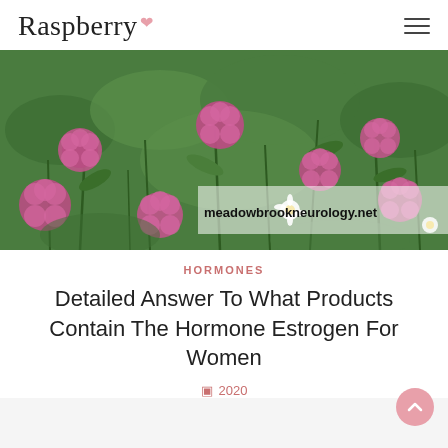Raspberry
[Figure (photo): A field of pink/purple clover flowers with green grass and small white daisies, with a semi-transparent watermark overlay reading 'meadowbrookneurology.net']
HORMONES
Detailed Answer To What Products Contain The Hormone Estrogen For Women
2020